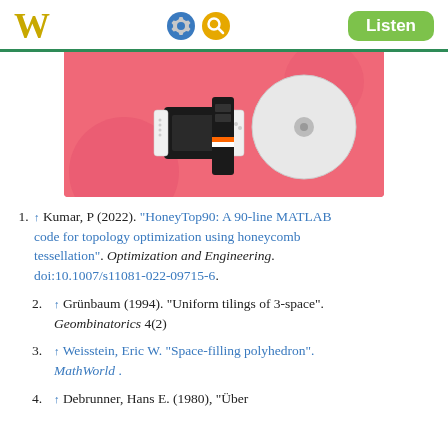W [Wikipedia logo] [gear icon] [search icon] Listen
[Figure (photo): Wikipedia mobile app advertisement banner showing Nintendo Switch console and gaming accessories on a pink/red background]
↑ Kumar, P (2022). "HoneyTop90: A 90-line MATLAB code for topology optimization using honeycomb tessellation". Optimization and Engineering. doi:10.1007/s11081-022-09715-6.
↑ Grünbaum (1994). "Uniform tilings of 3-space". Geombinatorics 4(2)
↑ Weisstein, Eric W. "Space-filling polyhedron". MathWorld.
↑ Debrunner, Hans E. (1980), "Über